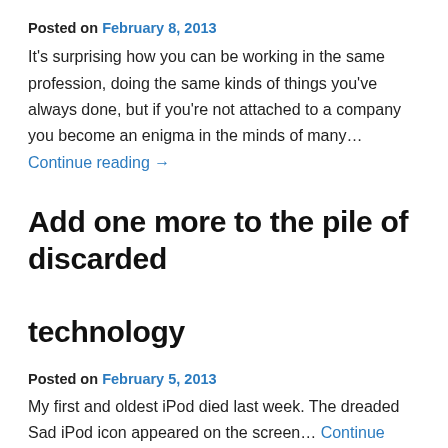Posted on February 8, 2013
It's surprising how you can be working in the same profession, doing the same kinds of things you've always done, but if you're not attached to a company you become an enigma in the minds of many… Continue reading →
Add one more to the pile of discarded technology
Posted on February 5, 2013
My first and oldest iPod died last week. The dreaded Sad iPod icon appeared on the screen… Continue reading →